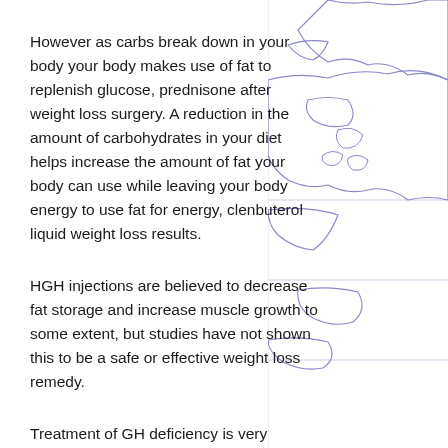However as carbs break down in your body your body makes use of fat to replenish glucose, prednisone after weight loss surgery. A reduction in the amount of carbohydrates in your diet helps increase the amount of fat your body can use while leaving your body energy to use fat for energy, clenbuterol liquid weight loss results.
HGH injections are believed to decrease fat storage and increase muscle growth to some extent, but studies have not shown this to be a safe or effective weight loss remedy.
Treatment of GH deficiency is very difficult. GH injections should be carefully planned and should be taken within 12–36 months of beginning treatment. It is difficult to determine when an effective dose will be reached. It is also dangerous for users to
[Figure (map): Partial world map outline in light blue/purple lines on white background, showing portions of Asia and surrounding regions, visible on the right side of the page.]